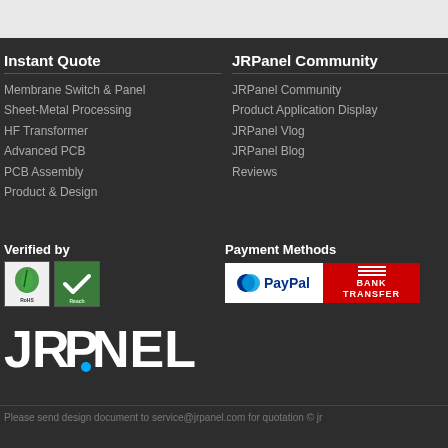Instant Quote
Membrane Switch & Panel
Sheet-Metal Processing
HF Transformer
Advanced PCB
PCB Assembly
Product & Design
JRPanel Community
JRPanel Community
Product Application Display
JRPanel Vlog
JRPanel Blog
Reviews
Verified by
[Figure (logo): ROHS and Reach certification badges]
Payment Methods
[Figure (logo): PayPal and Bank Transfer payment method badges]
[Figure (logo): JRPANEL logo in white text with blue dot]
Please send design document to service@jrpanel.com for quotation © jr